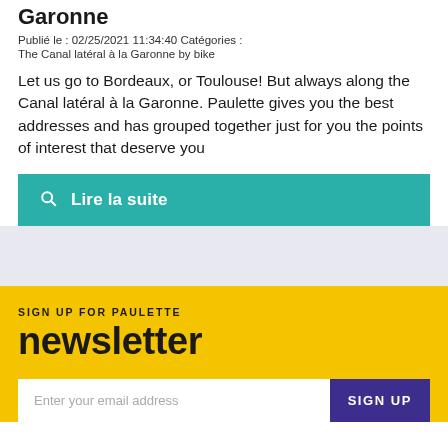Garonne
Publié le : 02/25/2021 11:34:40 Catégories :
The Canal latéral à la Garonne by bike
Let us go to Bordeaux, or Toulouse! But always along the Canal latéral à la Garonne. Paulette gives you the best addresses and has grouped together just for you the points of interest that deserve you
Lire la suite
SIGN UP FOR PAULETTE
newsletter
Enter your email address
SIGN UP